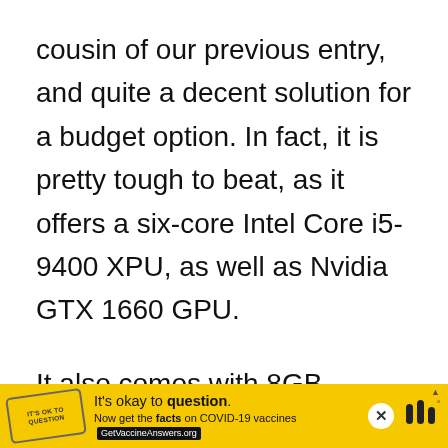cousin of our previous entry, and quite a decent solution for a budget option. In fact, it is pretty tough to beat, as it offers a six-core Intel Core i5-9400 XPU, as well as Nvidia GTX 1660 GPU.
It also comes with 8GB DDR4, 120GB SSD, and 1TB HDD. Of course, you won't reach maxed-out 4K gaming with this option, but it is more than capable of 1080p gaming if you lower your settings a bit.
[Figure (other): Yellow advertisement banner for COVID-19 vaccine information. Text reads: It's okay to question. Now get the facts on COVID-19 vaccines GetVaccineAnswers.org. Includes a close button (X) and a badge/stamp icon.]